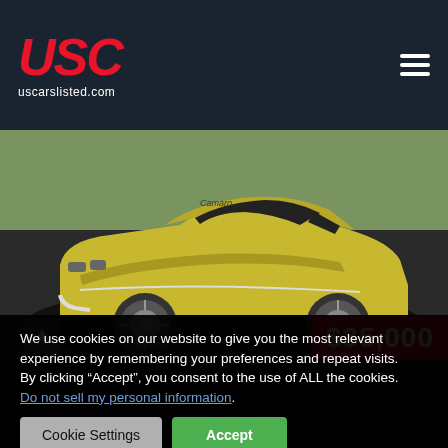USC uscarslisted.com
[Figure (photo): Gold/yellow classic Chevrolet Camaro muscle car parked on a black mat, facing front-left, with large chrome wheels. A red price badge in the bottom-right reads $35,000.]
We use cookies on our website to give you the most relevant experience by remembering your preferences and repeat visits.
By clicking “Accept”, you consent to the use of ALL the cookies.
Do not sell my personal information.
Cookie Settings   Accept